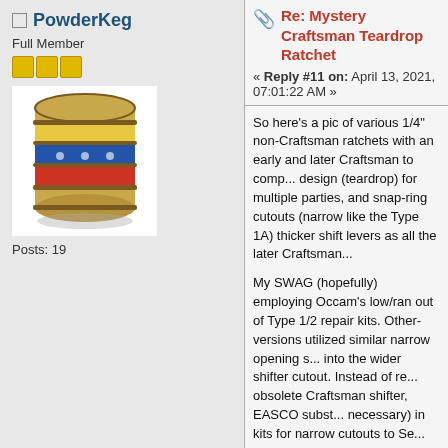PowderKeg
Full Member
[Figure (illustration): Cartoon barrel avatar with colorful bands (yellow, blue, red stripes) and small decorative elements, resembling a powder keg]
Posts: 19
Re: Mystery Craftsman Teardrop Ratchet
« Reply #11 on: April 13, 2021, 07:01:22 AM »
So here's a pic of various 1/4" non-Craftsman ratchets with an early and later Craftsman to compare. The basic design (teardrop) for multiple parties, and snap-ring cutouts (narrow like the Type 1A) but with thicker shift levers as all the later Craftsman...
My SWAG (hopefully) employing Occam's low/ran out of Type 1/2 repair kits. Other-versions utilized similar narrow opening s... into the wider shifter cutout. Instead of re-obsolete Craftsman shifter, EASCO subst... necessary) in kits for narrow cutouts to Se... replacement kits this way instead of payin... design.
The two NAPAs on the left have very narr... levers protruding down into the cutouts lik... non Craftys have thicker lever ends that p... T3+ beside them.
It's been a long time since I broke down th... can't recall at all what they look like inside...